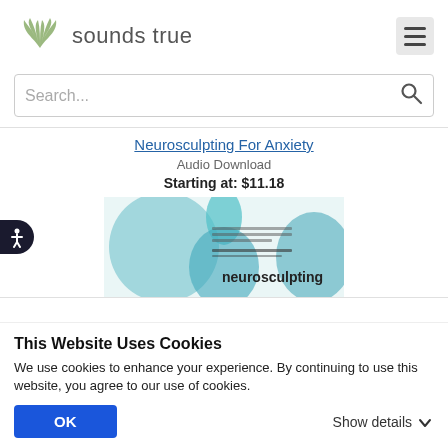[Figure (logo): Sounds True logo with wing emblem and text 'sounds true']
Search...
Neurosculpting For Anxiety
Audio Download
Starting at: $11.18
[Figure (photo): Book/audio product cover for 'neurosculpting']
This Website Uses Cookies
We use cookies to enhance your experience. By continuing to use this website, you agree to our use of cookies.
OK
Show details